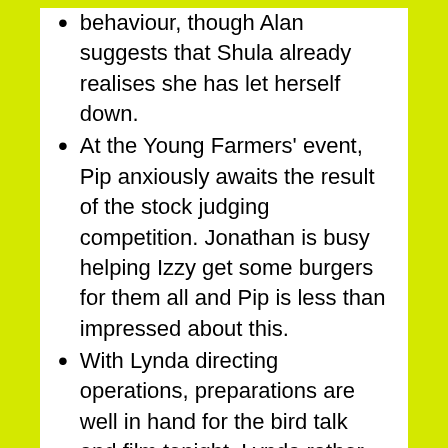behaviour, though Alan suggests that Shula already realises she has let herself down.
At the Young Farmers' event, Pip anxiously awaits the result of the stock judging competition. Jonathan is busy helping Izzy get some burgers for them all and Pip is less than impressed about this.
With Lynda directing operations, preparations are well in hand for the bird talk and film tonight. Lynda rather tactlessly asks whether the local press will be coming.
Pip came a creditable second in the stock judging but Izzy won the dancing and Jonathan has a vantage point to watch her victory dance – in a costume that leaves rather too little to the imagination for Pip's taste. Could this be a touch of green eye? But Ruth assures her that